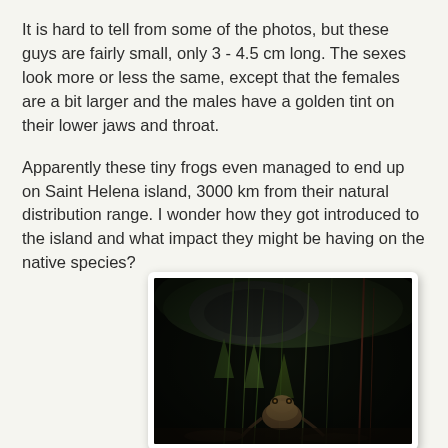It is hard to tell from some of the photos, but these guys are fairly small, only 3 - 4.5 cm long. The sexes look more or less the same, except that the females are a bit larger and the males have a golden tint on their lower jaws and throat.
Apparently these tiny frogs even managed to end up on Saint Helena island, 3000 km from their natural distribution range. I wonder how they got introduced to the island and what impact they might be having on the native species?
[Figure (photo): A dark close-up photograph of a small frog in natural habitat among grass and vegetation at night or low light conditions.]